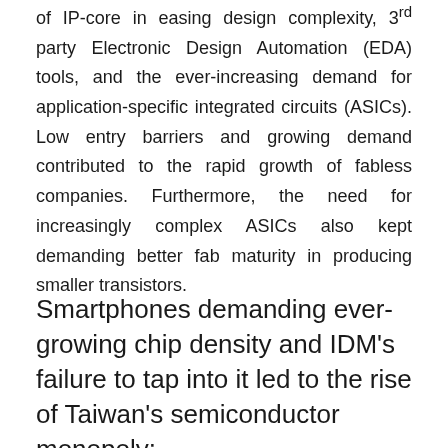of IP-core in easing design complexity, 3rd party Electronic Design Automation (EDA) tools, and the ever-increasing demand for application-specific integrated circuits (ASICs). Low entry barriers and growing demand contributed to the rapid growth of fabless companies. Furthermore, the need for increasingly complex ASICs also kept demanding better fab maturity in producing smaller transistors.
Smartphones demanding ever-growing chip density and IDM's failure to tap into it led to the rise of Taiwan's semiconductor monopoly: